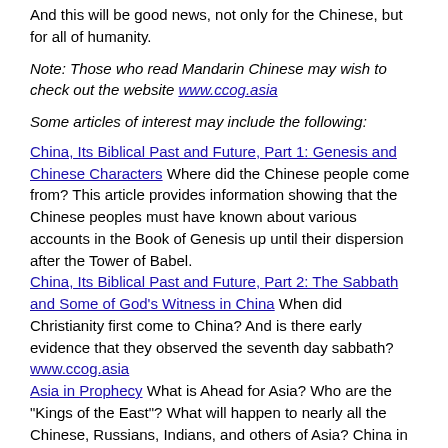And this will be good news, not only for the Chinese, but for all of humanity.
Note: Those who read Mandarin Chinese may wish to check out the website www.ccog.asia
Some articles of interest may include the following:
China, Its Biblical Past and Future, Part 1: Genesis and Chinese Characters Where did the Chinese people come from? This article provides information showing that the Chinese peoples must have known about various accounts in the Book of Genesis up until their dispersion after the Tower of Babel.
China, Its Biblical Past and Future, Part 2: The Sabbath and Some of God's Witness in China When did Christianity first come to China? And is there early evidence that they observed the seventh day sabbath? www.ccog.asia
Asia in Prophecy What is Ahead for Asia? Who are the "Kings of the East"? What will happen to nearly all the Chinese, Russians, Indians, and others of Asia? China in prophecy, where? Who has the 200,000,000 man army related to Armageddon?
Korea in Prophecy, Any Witness? Where did the Korean people come from? Does God have a plan for the Koreans? Is Korea mentioned in any prophecies? Will Koreans be among the first in the Kingdom of God? 한국의 예언 : 한국 예언, 어떤 증인이있나요?
Japan, Its Biblical Past and Future, Part 1: Any Witness? Where did the Japanese people come from? Have they had any witness?